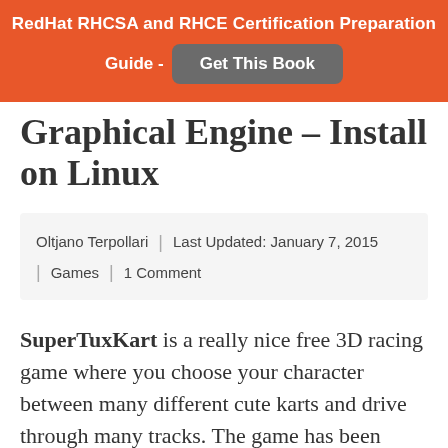RedHat RHCSA and RHCE Certification Preparation Guide - Get This Book
Graphical Engine – Install on Linux
Oltjano Terpollari | Last Updated: January 7, 2015 | Games | 1 Comment
SuperTuxKart is a really nice free 3D racing game where you choose your character between many different cute karts and drive through many tracks. The game has been improved